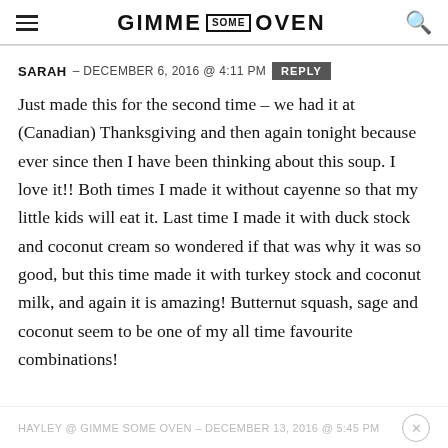GIMME SOME OVEN
SARAH – DECEMBER 6, 2016 @ 4:11 PM  REPLY
Just made this for the second time – we had it at (Canadian) Thanksgiving and then again tonight because ever since then I have been thinking about this soup. I love it!! Both times I made it without cayenne so that my little kids will eat it. Last time I made it with duck stock and coconut cream so wondered if that was why it was so good, but this time made it with turkey stock and coconut milk, and again it is amazing! Butternut squash, sage and coconut seem to be one of my all time favourite combinations!
HAYLEY @ GIMME SOME OVEN – DECEMBER 13, 2016 @ 5:45 PM